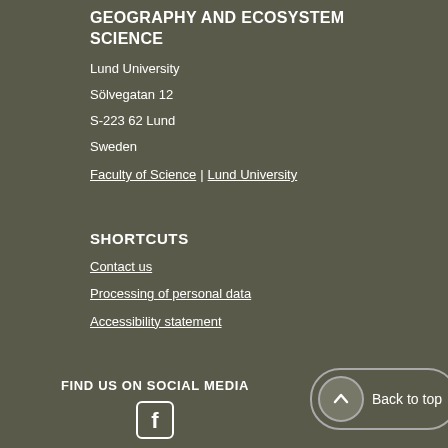GEOGRAPHY AND ECOSYSTEM SCIENCE
Lund University
Sölvegatan 12
S-223 62 Lund
Sweden
Faculty of Science | Lund University
SHORTCUTS
Contact us
Processing of personal data
Accessibility statement
FIND US ON SOCIAL MEDIA
[Figure (logo): Facebook logo icon in white on dark background]
Back to top